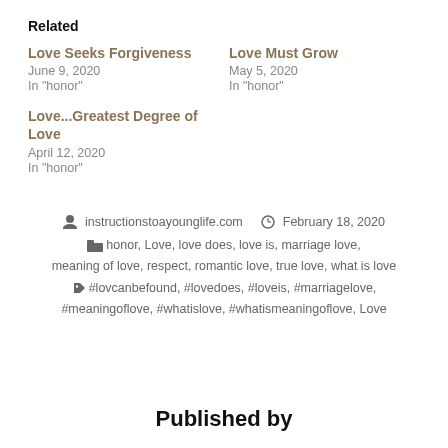Related
Love Seeks Forgiveness
June 9, 2020
In "honor"
Love Must Grow
May 5, 2020
In "honor"
Love...Greatest Degree of Love
April 12, 2020
In "honor"
instructionstoayounglife.com   February 18, 2020
honor, Love, love does, love is, marriage love, meaning of love, respect, romantic love, true love, what is love
#lovcanbefound, #lovedoes, #loveis, #marriagelove, #meaningoflove, #whatislove, #whatismeaningoflove, Love
Published by